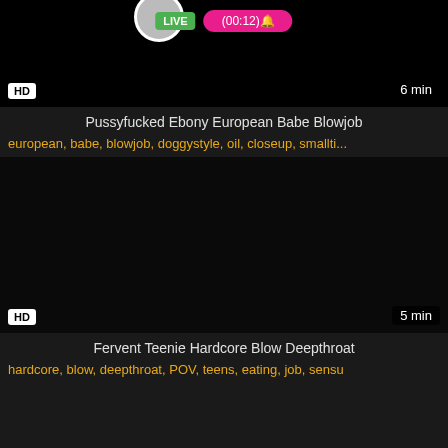[Figure (screenshot): Video thumbnail (top, partially cropped) with LIVE badge, timer (00:12), HD badge, 6 min duration. Black background with live overlay elements.]
Pussyfucked Ebony European Babe Blowjob
european, babe, blowjob, doggystyle, oil, closeup, smallti...
[Figure (screenshot): Video thumbnail (dark/black), HD badge bottom-left, 5 min duration bottom-right.]
Fervent Teenie Hardcore Blow Deepthroat
hardcore, blow, deepthroat, POV, teens, eating, job, sensu